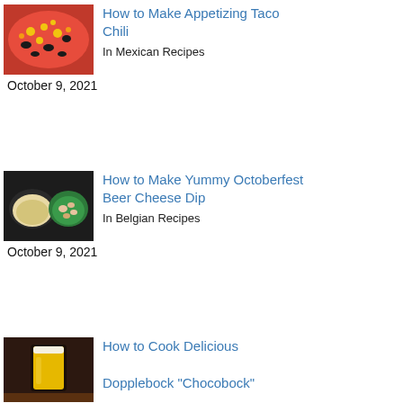[Figure (photo): Food photo of taco chili with beans and corn]
How to Make Appetizing Taco Chili
In Mexican Recipes
October 9, 2021
[Figure (photo): Photo of beer cheese dip in bowls]
How to Make Yummy Octoberfest Beer Cheese Dip
In Belgian Recipes
October 9, 2021
[Figure (photo): Photo of a glass of yellow/gold beer (Dopplebock)]
How to Cook Delicious Dopplebock "Chocobock"